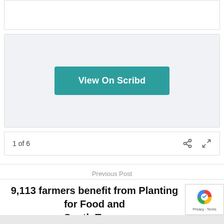[Figure (screenshot): Top white card area from Scribd embed]
[Figure (screenshot): Scribd embedded document viewer with 'View On Scribd' teal button]
1 of 6
Previous Post
9,113 farmers benefit from Planting for Food and South Tongu